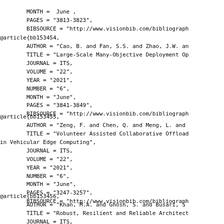MONTH = June ,
        PAGES = "3813-3823",
        BIBSOURCE = "http://www.visionbib.com/bibliograph
@article{bb153454,
        AUTHOR = "Cao, B. and Fan, S.S. and Zhao, J.W. an
        TITLE = "Large-Scale Many-Objective Deployment Op
        JOURNAL = ITS,
        VOLUME = "22",
        YEAR = "2021",
        NUMBER = "6",
        MONTH = "June",
        PAGES = "3841-3849",
        BIBSOURCE = "http://www.visionbib.com/bibliograph
@article{bb153455,
        AUTHOR = "Zeng, F. and Chen, Q. and Meng, L. and
        TITLE = "Volunteer Assisted Collaborative Offload
in Vehicular Edge Computing",
        JOURNAL = ITS,
        VOLUME = "22",
        YEAR = "2021",
        NUMBER = "6",
        MONTH = "June",
        PAGES = "3247-3257",
        BIBSOURCE = "http://www.visionbib.com/bibliograph
@article{bb153456,
        AUTHOR = "Khan, M.A. and Ghosh, S. and Busari, S
        TITLE = "Robust, Resilient and Reliable Architect
        JOURNAL = ITS,